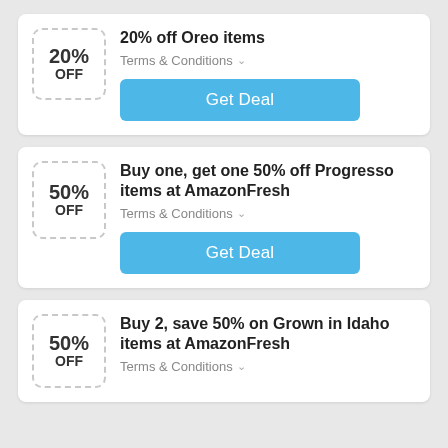[Figure (screenshot): Deal card 1: 20% OFF discount badge with title '20% off Oreo items', Terms & Conditions link, and blue Get Deal button]
[Figure (screenshot): Deal card 2: 50% OFF discount badge with title 'Buy one, get one 50% off Progresso items at AmazonFresh', Terms & Conditions link, and blue Get Deal button]
[Figure (screenshot): Deal card 3: 50% OFF discount badge with title 'Buy 2, save 50% on Grown in Idaho items at AmazonFresh', Terms & Conditions link]